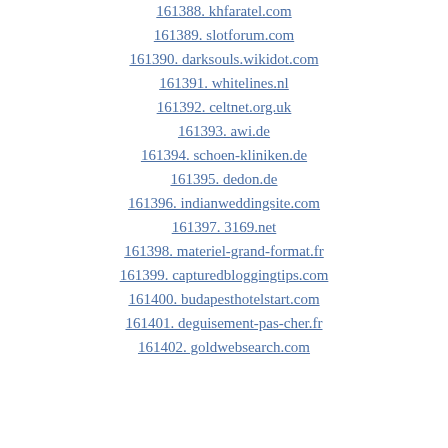161388. khfaratel.com
161389. slotforum.com
161390. darksouls.wikidot.com
161391. whitelines.nl
161392. celtnet.org.uk
161393. awi.de
161394. schoen-kliniken.de
161395. dedon.de
161396. indianweddingsite.com
161397. 3169.net
161398. materiel-grand-format.fr
161399. capturedbloggingtips.com
161400. budapesthotelstart.com
161401. deguisement-pas-cher.fr
161402. goldwebsearch.com